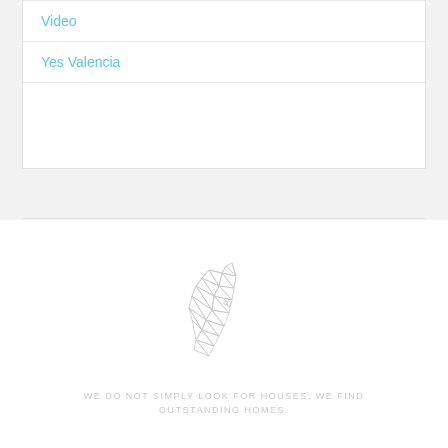Video
Yes Valencia
[Figure (illustration): Geometric low-poly unicorn head illustration in light grey lines]
WE DO NOT SIMPLY LOOK FOR HOUSES; WE FIND OUTSTANDING HOMES.